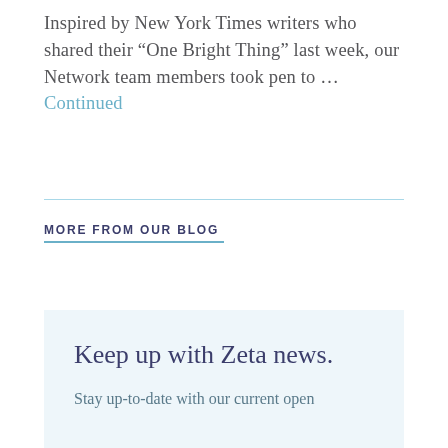Inspired by New York Times writers who shared their “One Bright Thing” last week, our Network team members took pen to … Continued
MORE FROM OUR BLOG
Keep up with Zeta news.
Stay up-to-date with our current open